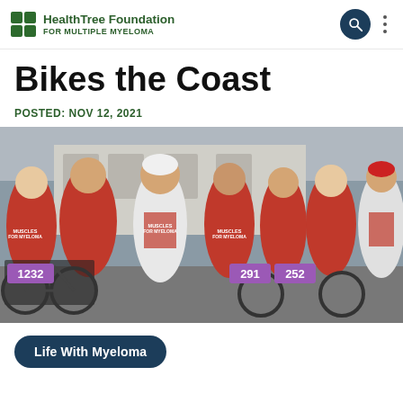HealthTree Foundation FOR MULTIPLE MYELOMA
Bikes the Coast
POSTED: NOV 12, 2021
[Figure (photo): Group of cyclists in red 'Muscles for Myeloma' shirts and jerseys posing with bicycles. Race bibs visible including numbers 1232, 291, 252. Background shows a building facade.]
Life With Myeloma